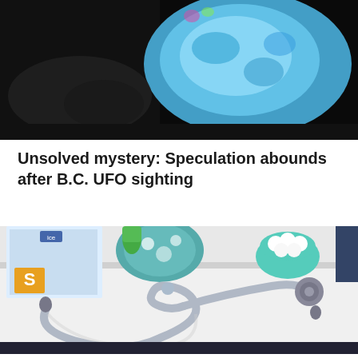[Figure (photo): Dark image with bright blue glowing object, possibly a UFO or aerial phenomenon]
Unsolved mystery: Speculation abounds after B.C. UFO sighting
[Figure (photo): A stethoscope lying on a white medical desk surface with medical supplies in the background including cotton balls and tubes]
C...